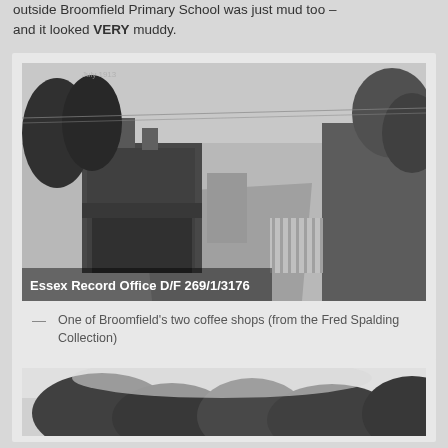outside Broomfield Primary School was just mud too – and it looked VERY muddy.
[Figure (photo): Black and white photograph of a street scene showing Broomfield village with a coffee shop building on the left, trees, and a road. Watermark reads: Essex Record Office D/F 269/1/3176]
One of Broomfield's two coffee shops (from the Fred Spalding Collection)
[Figure (photo): Black and white photograph partially visible at bottom of page, showing trees and landscape.]